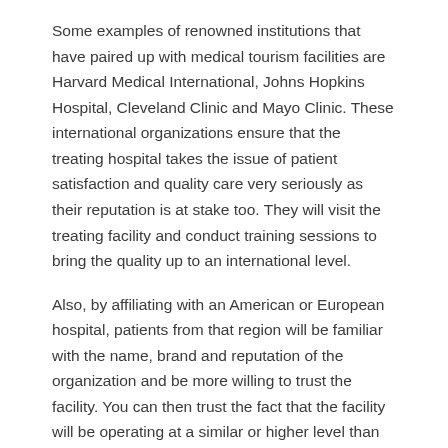Some examples of renowned institutions that have paired up with medical tourism facilities are Harvard Medical International, Johns Hopkins Hospital, Cleveland Clinic and Mayo Clinic. These international organizations ensure that the treating hospital takes the issue of patient satisfaction and quality care very seriously as their reputation is at stake too. They will visit the treating facility and conduct training sessions to bring the quality up to an international level.
Also, by affiliating with an American or European hospital, patients from that region will be familiar with the name, brand and reputation of the organization and be more willing to trust the facility. You can then trust the fact that the facility will be operating at a similar or higher level than the institution they are affiliated with.
Why medical tourists must